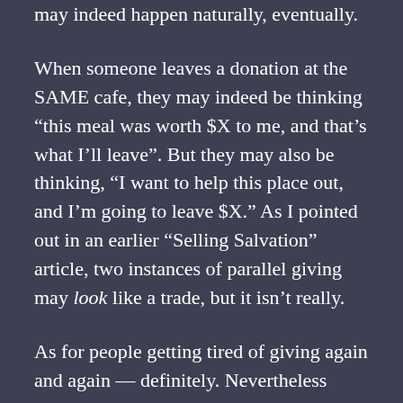may indeed happen naturally, eventually.
When someone leaves a donation at the SAME cafe, they may indeed be thinking “this meal was worth $X to me, and that’s what I’ll leave”. But they may also be thinking, “I want to help this place out, and I’m going to leave $X.” As I pointed out in an earlier “Selling Salvation” article, two instances of parallel giving may look like a trade, but it isn’t really.
As for people getting tired of giving again and again — definitely. Nevertheless many